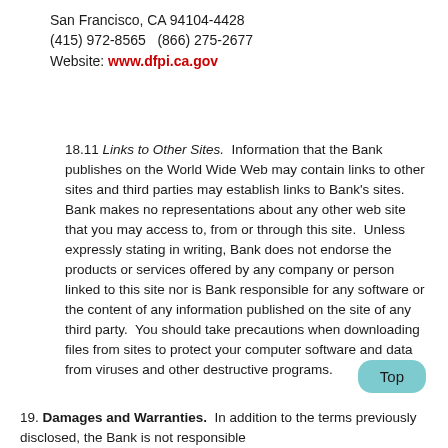San Francisco, CA 94104-4428
(415) 972-8565    (866) 275-2677
Website: www.dfpi.ca.gov
18.11 Links to Other Sites.  Information that the Bank publishes on the World Wide Web may contain links to other sites and third parties may establish links to Bank’s sites.  Bank makes no representations about any other web site that you may access to, from or through this site.  Unless expressly stating in writing, Bank does not endorse the products or services offered by any company or person linked to this site nor is Bank responsible for any software or the content of any information published on the site of any third party.  You should take precautions when downloading files from sites to protect your computer software and data from viruses and other destructive programs.
19. Damages and Warranties.  In addition to the terms previously disclosed, the Bank is not responsible